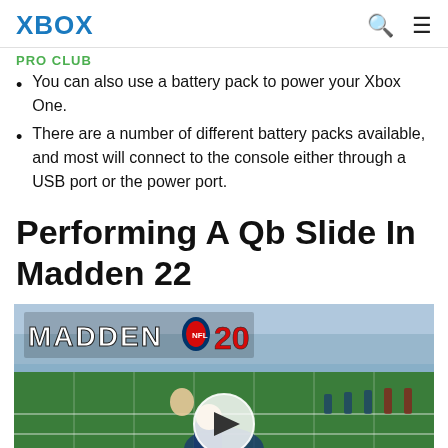XBOX | PRO CLUB
You can also use a battery pack to power your Xbox One.
There are a number of different battery packs available, and most will connect to the console either through a USB port or the power port.
Performing A Qb Slide In Madden 22
[Figure (screenshot): Screenshot from Madden NFL 20 video game showing a football player on field with a play button overlay indicating a video embed.]